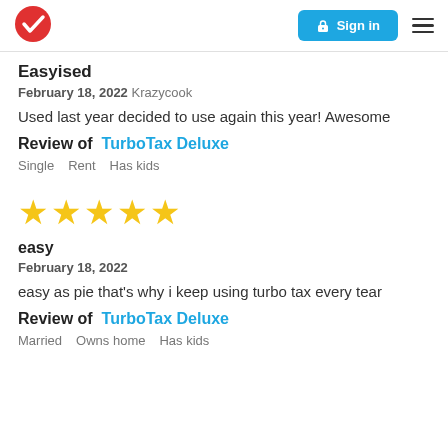Sign in
Easyised
February 18, 2022 Krazycook
Used last year decided to use again this year! Awesome
Review of TurboTax Deluxe
Single   Rent   Has kids
[Figure (other): Five gold star rating]
easy
February 18, 2022
easy as pie that’s why i keep using turbo tax every tear
Review of TurboTax Deluxe
Married   Owns home   Has kids